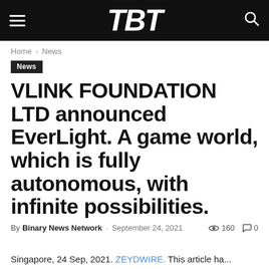TBT
Home › News
News
VLINK FOUNDATION LTD announced EverLight. A game world, which is fully autonomous, with infinite possibilities.
By Binary News Network - September 24, 2021   160   0
Singapore, 24 Sep, 2021. ZEYDWIRE. This article...